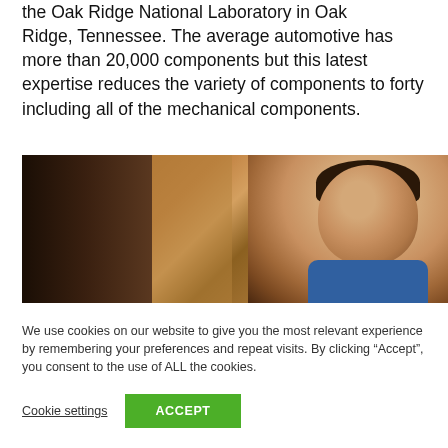the Oak Ridge National Laboratory in Oak Ridge, Tennessee. The average automotive has more than 20,000 components but this latest expertise reduces the variety of components to forty including all of the mechanical components.
[Figure (photo): A person looking down, photographed indoors with warm brown wooden paneling in the background. The person appears to be a young man wearing a blue shirt.]
We use cookies on our website to give you the most relevant experience by remembering your preferences and repeat visits. By clicking “Accept”, you consent to the use of ALL the cookies.